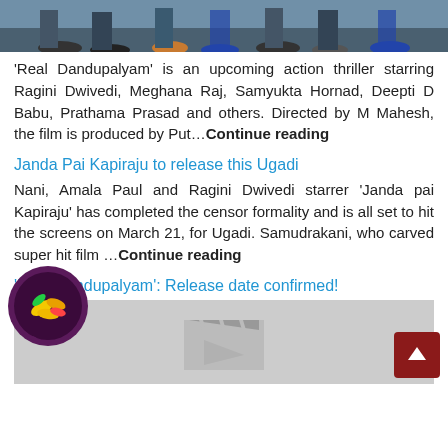[Figure (photo): Top image showing feet/legs of people wearing jeans and various shoes, cropped photo]
'Real Dandupalyam' is an upcoming action thriller starring Ragini Dwivedi, Meghana Raj, Samyukta Hornad, Deepti D Babu, Prathama Prasad and others. Directed by M Mahesh, the film is produced by Put…Continue reading
Janda Pai Kapiraju to release this Ugadi
Nani, Amala Paul and Ragini Dwivedi starrer 'Janda pai Kapiraju' has completed the censor formality and is all set to hit the screens on March 21, for Ugadi. Samudrakani, who carved super hit film …Continue reading
'Real Dandupalyam': Release date confirmed!
[Figure (photo): Gray placeholder image with a film-related icon/clapperboard silhouette]